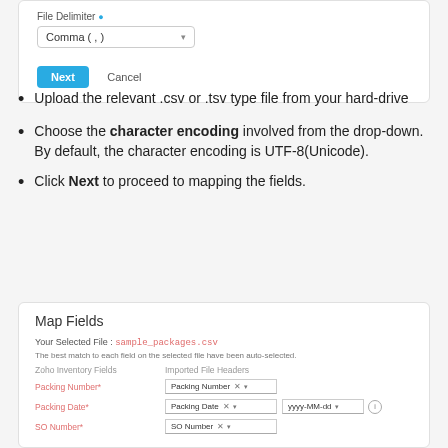[Figure (screenshot): UI card showing a delimiter dropdown set to 'Comma (,)' with a blue Next button and a Cancel link]
Upload the relevant .csv or .tsv type file from your hard-drive
Choose the character encoding involved from the drop-down. By default, the character encoding is UTF-8(Unicode).
Click Next to proceed to mapping the fields.
[Figure (screenshot): Map Fields UI card showing selected file sample_packages.csv, auto-selected field mappings for Packing Number, Packing Date, and SO Number with dropdowns]